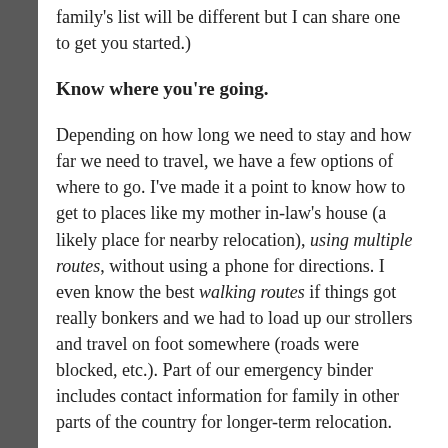family's list will be different but I can share one to get you started.)
Know where you're going.
Depending on how long we need to stay and how far we need to travel, we have a few options of where to go. I've made it a point to know how to get to places like my mother in-law's house (a likely place for nearby relocation), using multiple routes, without using a phone for directions. I even know the best walking routes if things got really bonkers and we had to load up our strollers and travel on foot somewhere (roads were blocked, etc.). Part of our emergency binder includes contact information for family in other parts of the country for longer-term relocation.